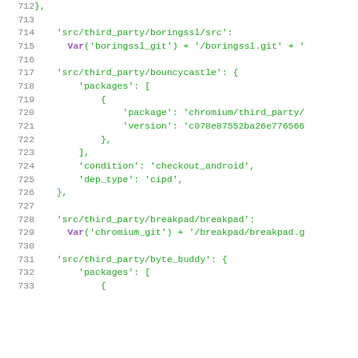Source code listing lines 712–733 showing dependency configuration in what appears to be a DEPS file for the Chromium project.